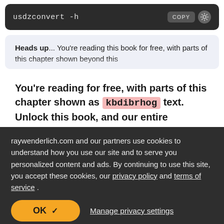usdzconvert -h
Heads up... You're reading this book for free, with parts of this chapter shown beyond this
You're reading for free, with parts of this chapter shown as kbdibrhog text. Unlock this book, and our entire
raywenderlich.com and our partners use cookies to understand how you use our site and to serve you personalized content and ads. By continuing to use this site, you accept these cookies, our privacy policy and terms of service .
OK ✓
Manage privacy settings